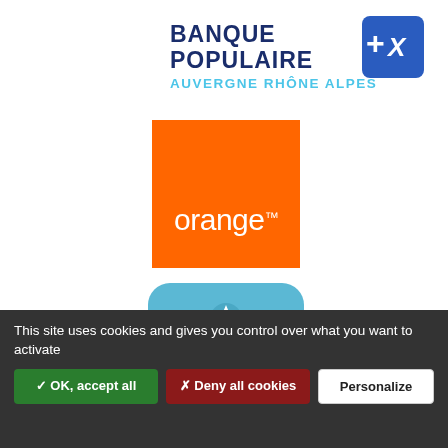[Figure (logo): Banque Populaire Auvergne Rhône Alpes logo with dark blue text and light blue accent and plus-X symbol in blue/white square badge]
[Figure (logo): Orange telecom logo - orange square with white 'orange' text and trademark symbol]
[Figure (logo): Trace de Trail app logo - rounded square with light blue background, navigation arrow icon, and stylized text 'trace de TRAIL']
This site uses cookies and gives you control over what you want to activate
✓ OK, accept all
✗ Deny all cookies
Personalize